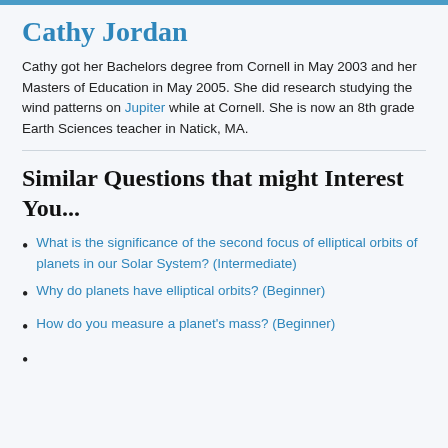Cathy Jordan
Cathy got her Bachelors degree from Cornell in May 2003 and her Masters of Education in May 2005. She did research studying the wind patterns on Jupiter while at Cornell. She is now an 8th grade Earth Sciences teacher in Natick, MA.
Similar Questions that might Interest You...
What is the significance of the second focus of elliptical orbits of planets in our Solar System? (Intermediate)
Why do planets have elliptical orbits? (Beginner)
How do you measure a planet's mass? (Beginner)